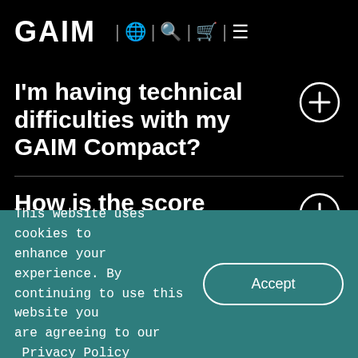GAIM | 🌐 | 🔍 | 🛒 | ☰
I'm having technical difficulties with my GAIM Compact?
How is the score
This website uses cookies to enhance your experience. By continuing to use this website you are agreeing to our  Privacy Policy